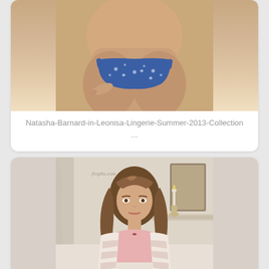[Figure (photo): Photo of model wearing blue floral bikini/lingerie, cropped torso shot on light background]
Natasha-Barnard-in-Leonisa-Lingerie-Summer-2013-Collection ...
[Figure (photo): Photo of young woman with long brown hair wearing pink camisole and striped cardigan, standing in elegant room with candle and mirror]